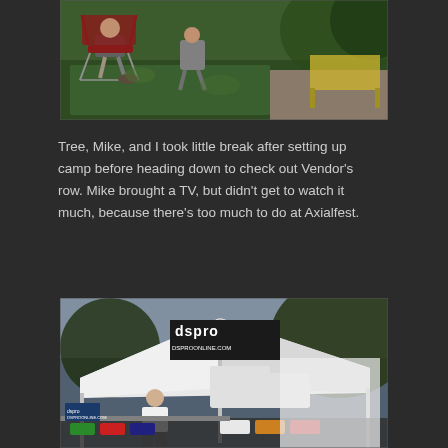[Figure (photo): Two people sitting on camp chairs on green artificial grass in a wooded outdoor setting, with a yellow table visible in background]
Tree, Mike, and I took little break after setting up camp before heading down to check out Vendor’s row. Mike brought a TV, but didn’t get to watch it much, because there’s too much to do at Axialfest.
[Figure (photo): Outdoor vendor booth for DSPRO / DSPROONLINE.COM with white tent canopy, a bald man standing in front, RC cars and equipment on tables, and a truck visible in the background]